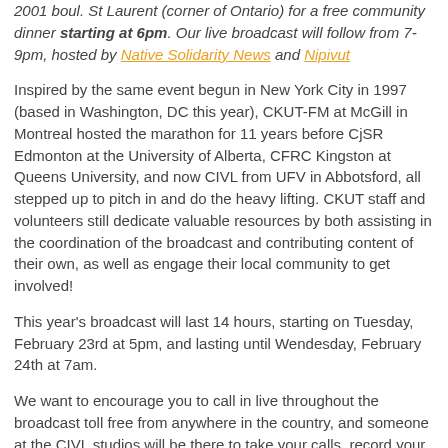2001 boul. St Laurent (corner of Ontario) for a free community dinner starting at 6pm. Our live broadcast will follow from 7-9pm, hosted by Native Solidarity News and Nipivut
Inspired by the same event begun in New York City in 1997 (based in Washington, DC this year), CKUT-FM at McGill in Montreal hosted the marathon for 11 years before CjSR Edmonton at the University of Alberta, CFRC Kingston at Queens University, and now CIVL from UFV in Abbotsford, all stepped up to pitch in and do the heavy lifting. CKUT staff and volunteers still dedicate valuable resources by both assisting in the coordination of the broadcast and contributing content of their own, as well as engage their local community to get involved!
This year's broadcast will last 14 hours, starting on Tuesday, February 23rd at 5pm, and lasting until Wendesday, February 24th at 7am.
We want to encourage you to call in live throughout the broadcast toll free from anywhere in the country, and someone at the CIVL studios will be there to take your calls, record your feedback, and play them during the broadcast, as well as send them on to broadcasting